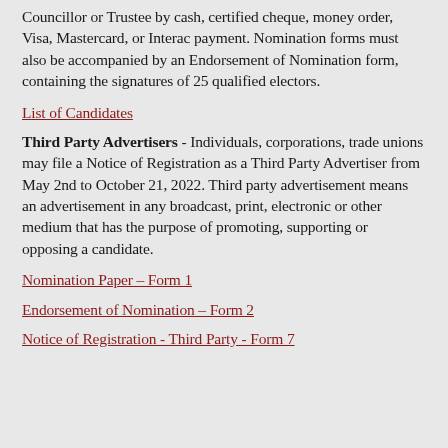Councillor or Trustee by cash, certified cheque, money order, Visa, Mastercard, or Interac payment. Nomination forms must also be accompanied by an Endorsement of Nomination form, containing the signatures of 25 qualified electors.
List of Candidates
Third Party Advertisers - Individuals, corporations, trade unions may file a Notice of Registration as a Third Party Advertiser from May 2nd to October 21, 2022. Third party advertisement means an advertisement in any broadcast, print, electronic or other medium that has the purpose of promoting, supporting or opposing a candidate.
Nomination Paper – Form 1
Endorsement of Nomination – Form 2
Notice of Registration - Third Party - Form 7